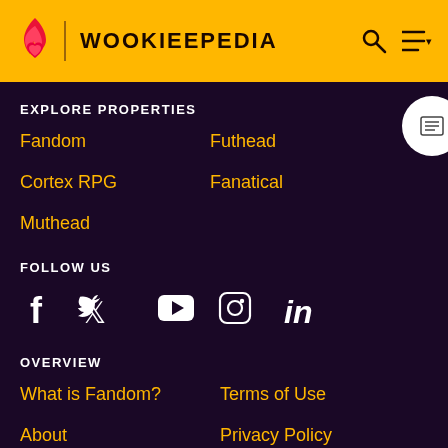WOOKIEEPEDIA
EXPLORE PROPERTIES
Fandom
Futhead
Cortex RPG
Fanatical
Muthead
FOLLOW US
[Figure (infographic): Social media icons: Facebook, Twitter, YouTube, Instagram, LinkedIn]
OVERVIEW
What is Fandom?
Terms of Use
About
Privacy Policy